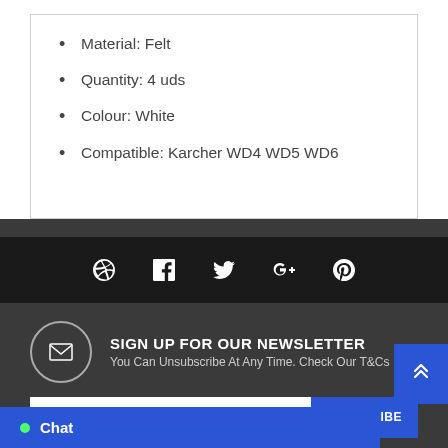Material: Felt
Quantity: 4 uds
Colour: White
Compatible: Karcher WD4 WD5 WD6
[Figure (infographic): Social media icon bar with Dribbble, Facebook, Twitter, Google+, and Pinterest icons on black background]
SIGN UP FOR OUR NEWSLETTER
You Can Unsubscribe At Any Time. Check Our T&Cs
Email address
SUBSCRIBE
Chat